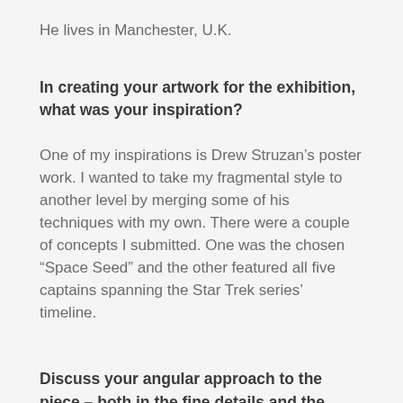He lives in Manchester, U.K.
In creating your artwork for the exhibition, what was your inspiration?
One of my inspirations is Drew Struzan’s poster work. I wanted to take my fragmental style to another level by merging some of his techniques with my own. There were a couple of concepts I submitted. One was the chosen “Space Seed” and the other featured all five captains spanning the Star Trek series’ timeline.
Discuss your angular approach to the piece – both in the fine details and the larger landscape.
The angular (fragmented) approach is one...